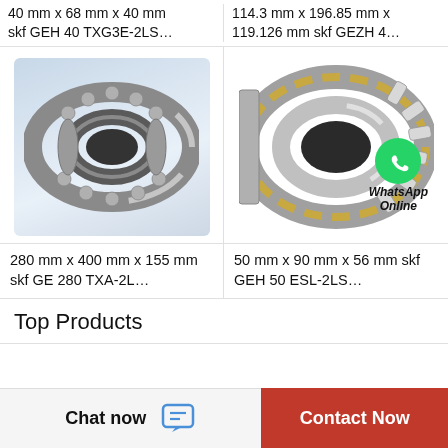40 mm x 68 mm x 40 mm skf GEH 40 TXG3E-2LS…
114.3 mm x 196.85 mm x 119.126 mm skf GEZH 4…
[Figure (photo): SKF GE 280 TXA-2L spherical plain bearing, grey metallic ring bearing with rolling elements, shown on light blue gradient background]
[Figure (photo): SKF GEH 50 ESL-2LS cylindrical roller bearing, silver and gold colored bearing with multiple roller elements, with WhatsApp Online overlay badge]
280 mm x 400 mm x 155 mm skf GE 280 TXA-2L…
50 mm x 90 mm x 56 mm skf GEH 50 ESL-2LS…
Top Products
Chat now
Contact Now